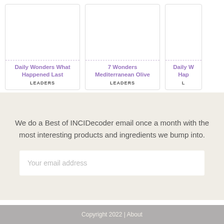Daily Wonders What Happened Last
LEADERS
7 Wonders Mediterranean Olive
LEADERS
Daily W Hap
L
We do a Best of INCIDecoder email once a month with the most interesting products and ingredients we bump into.
Your email address
Copyright 2022 | About